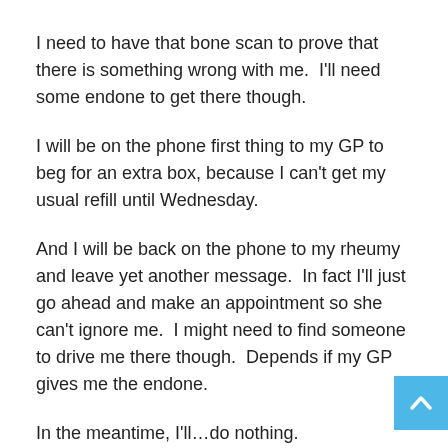I need to have that bone scan to prove that there is something wrong with me.  I'll need some endone to get there though.
I will be on the phone first thing to my GP to beg for an extra box, because I can't get my usual refill until Wednesday.
And I will be back on the phone to my rheumy and leave yet another message.  In fact I'll just go ahead and make an appointment so she can't ignore me.  I might need to find someone to drive me there though.  Depends if my GP gives me the endone.
In the meantime, I'll…do nothing.
I know that my desperation for endone will sound like addiction to some people.  This isn't the case.  Endone relieves a large proportion of my pain. Of course I want it quite badly.  It takes